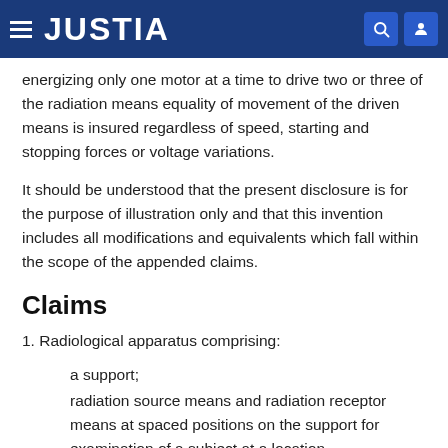JUSTIA
energizing only one motor at a time to drive two or three of the radiation means equality of movement of the driven means is insured regardless of speed, starting and stopping forces or voltage variations.
It should be understood that the present disclosure is for the purpose of illustration only and that this invention includes all modifications and equivalents which fall within the scope of the appended claims.
Claims
1. Radiological apparatus comprising:
a support;
radiation source means and radiation receptor means at spaced positions on the support for examination of a subject at a location